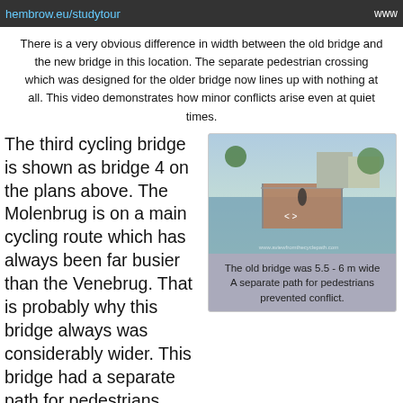hembrow.eu/studytour | www
There is a very obvious difference in width between the old bridge and the new bridge in this location. The separate pedestrian crossing which was designed for the older bridge now lines up with nothing at all. This video demonstrates how minor conflicts arise even at quiet times.
The third cycling bridge is shown as bridge 4 on the plans above. The Molenbrug is on a main cycling route which has always been far busier than the Venebrug. That is probably why this bridge always was considerably wider. This bridge had a separate path for pedestrians. I never measured this bridge. Estimating from Google Earth it appears that it was around 5.5 m wide.
[Figure (photo): Photo of an old cycling bridge (Molenbrug) with wooden deck and metal railings over water, with cyclists and pedestrians visible, buildings in the background]
The old bridge was 5.5 - 6 m wide
A separate path for pedestrians prevented conflict.
[Figure (photo): Photo showing trees and outdoor scene at bottom left]
The replacement for this bridge is the biggest